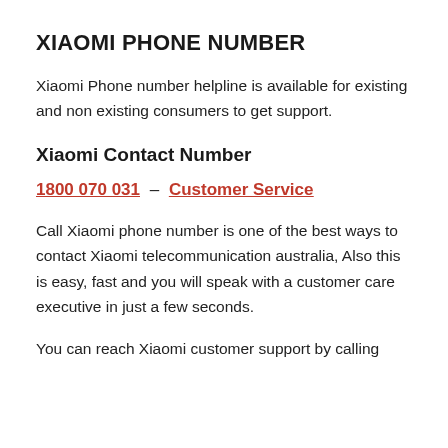XIAOMI PHONE NUMBER
Xiaomi Phone number helpline is available for existing and non existing consumers to get support.
Xiaomi Contact Number
1800 070 031 – Customer Service
Call Xiaomi phone number is one of the best ways to contact Xiaomi telecommunication australia, Also this is easy, fast and you will speak with a customer care executive in just a few seconds.
You can reach Xiaomi customer support by calling